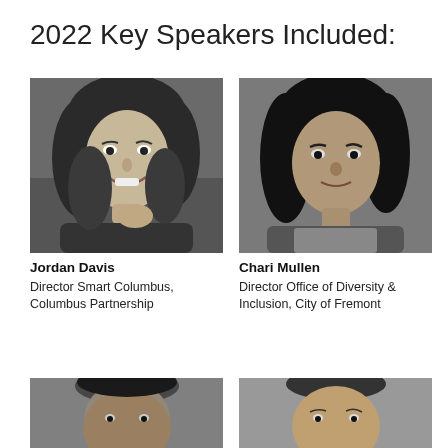2022 Key Speakers Included:
[Figure (photo): Black and white portrait photo of Jordan Davis, a woman with long wavy hair, smiling]
Jordan Davis
Director Smart Columbus, Columbus Partnership
[Figure (photo): Black and white portrait photo of Chari Mullen, a woman wearing a pearl necklace, looking directly at camera]
Chari Mullen
Director Office of Diversity & Inclusion, City of Fremont
[Figure (photo): Black and white portrait photo of a man, partially visible, cropped at bottom of page]
[Figure (photo): Black and white portrait photo of another person, partially visible, cropped at bottom of page]